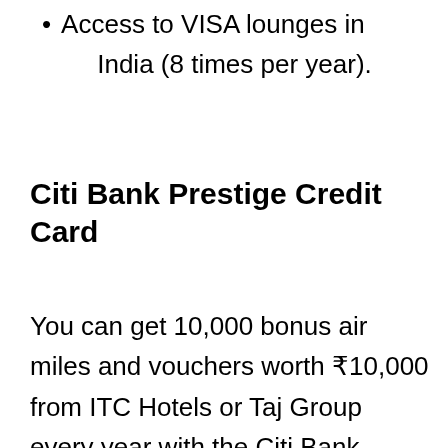Access to VISA lounges in India (8 times per year).
Citi Bank Prestige Credit Card
You can get 10,000 bonus air miles and vouchers worth ₹10,000 from ITC Hotels or Taj Group every year with the Citi Bank Prestige credit card. Apart from this, you can get